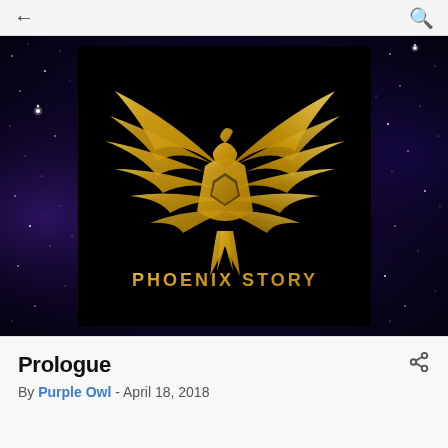← (back) | (search icon)
[Figure (logo): Phoenix Story logo: a golden phoenix bird with spread wings on a black square background, with text 'PHOENIX STORY' in gold bold letters below the bird. The logo is set against a dark blue starry night sky background.]
Prologue
By Purple Owl - April 18, 2018